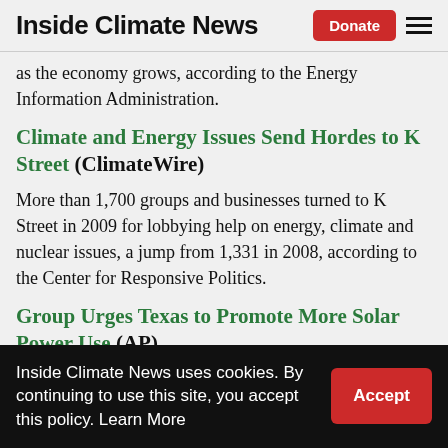Inside Climate News
as the economy grows, according to the Energy Information Administration.
Climate and Energy Issues Send Hordes to K Street (ClimateWire)
More than 1,700 groups and businesses turned to K Street in 2009 for lobbying help on energy, climate and nuclear issues, a jump from 1,331 in 2008, according to the Center for Responsive Politics.
Group Urges Texas to Promote More Solar Power Use (AP)
Inside Climate News uses cookies. By continuing to use this site, you accept this policy. Learn More